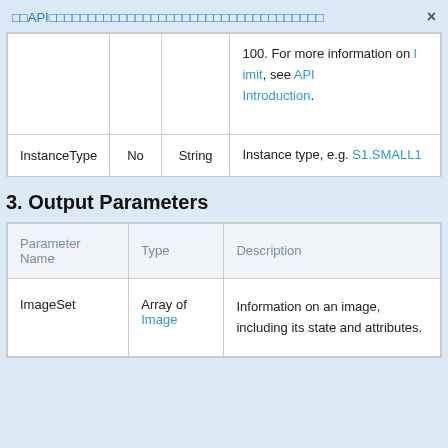□□API□□□□□□□□□□□□□□□□□□□□□□□□□□□□□□□□□□□
|  |  |  |  |
| --- | --- | --- | --- |
|  |  |  | 100. For more information on limit, see API Introduction. |
| InstanceType | No | String | Instance type, e.g. S1.SMALL1 |
3. Output Parameters
| Parameter Name | Type | Description |
| --- | --- | --- |
| ImageSet | Array of Image | Information on an image, including its state and attributes. |